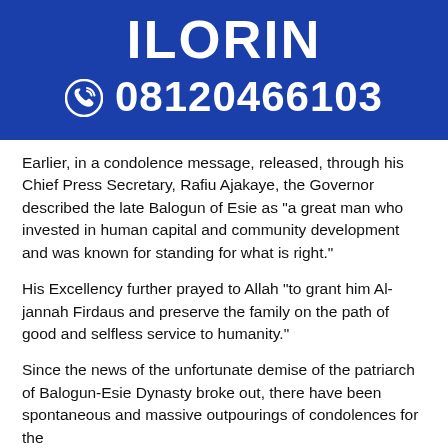[Figure (infographic): Blue banner with text ILORIN and phone number 08120466103 with phone icon]
Earlier, in a condolence message, released, through his Chief Press Secretary, Rafiu Ajakaye, the Governor described the late Balogun of Esie as "a great man who invested in human capital and community development and was known for standing for what is right."
His Excellency further prayed to Allah "to grant him Al-jannah Firdaus and preserve the family on the path of good and selfless service to humanity."
Since the news of the unfortunate demise of the patriarch of Balogun-Esie Dynasty broke out, there have been spontaneous and massive outpourings of condolences for the